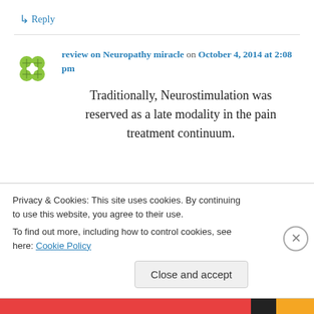↳ Reply
review on Neuropathy miracle on October 4, 2014 at 2:08 pm
Traditionally, Neurostimulation was reserved as a late modality in the pain treatment continuum.
Privacy & Cookies: This site uses cookies. By continuing to use this website, you agree to their use.
To find out more, including how to control cookies, see here: Cookie Policy
Close and accept